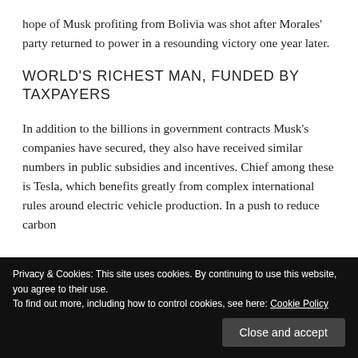hope of Musk profiting from Bolivia was shot after Morales' party returned to power in a resounding victory one year later.
WORLD'S RICHEST MAN, FUNDED BY TAXPAYERS
In addition to the billions in government contracts Musk's companies have secured, they also have received similar numbers in public subsidies and incentives. Chief among these is Tesla, which benefits greatly from complex international rules around electric vehicle production. In a push to reduce carbon
Privacy & Cookies: This site uses cookies. By continuing to use this website, you agree to their use.
To find out more, including how to control cookies, see here: Cookie Policy